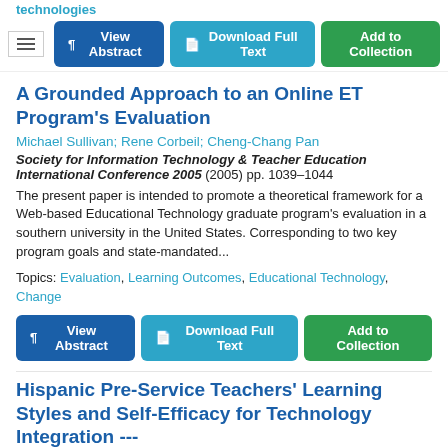technologies
[Figure (screenshot): Toolbar with hamburger menu icon, View Abstract (blue button), Download Full Text (teal button), Add to Collection (green button)]
A Grounded Approach to an Online ET Program's Evaluation
Michael Sullivan; Rene Corbeil; Cheng-Chang Pan
Society for Information Technology & Teacher Education International Conference 2005 (2005) pp. 1039–1044
The present paper is intended to promote a theoretical framework for a Web-based Educational Technology graduate program's evaluation in a southern university in the United States. Corresponding to two key program goals and state-mandated...
Topics: Evaluation, Learning Outcomes, Educational Technology, Change
[Figure (screenshot): View Abstract (blue button), Download Full Text (teal button), Add to Collection (green button)]
Hispanic Pre-Service Teachers' Learning Styles and Self-Efficacy for Technology Integration ---